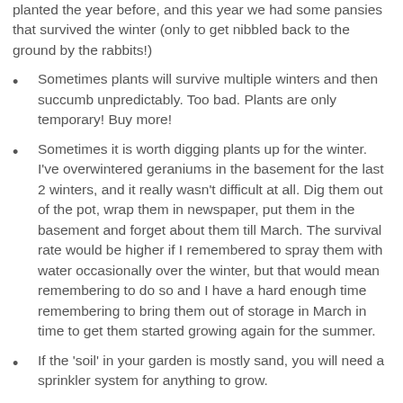planted the year before, and this year we had some pansies that survived the winter (only to get nibbled back to the ground by the rabbits!)
Sometimes plants will survive multiple winters and then succumb unpredictably. Too bad. Plants are only temporary! Buy more!
Sometimes it is worth digging plants up for the winter. I've overwintered geraniums in the basement for the last 2 winters, and it really wasn't difficult at all. Dig them out of the pot, wrap them in newspaper, put them in the basement and forget about them till March. The survival rate would be higher if I remembered to spray them with water occasionally over the winter, but that would mean remembering to do so and I have a hard enough time remembering to bring them out of storage in March in time to get them started growing again for the summer.
If the 'soil' in your garden is mostly sand, you will need a sprinkler system for anything to grow.